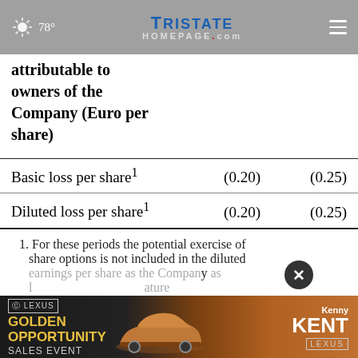78° | TRISTATE HOMEPAGE.com
attributable to owners of the Company (Euro per share)
|  |  |  |
| --- | --- | --- |
| Basic loss per share¹ | (0.20) | (0.25) |
| Diluted loss per share¹ | (0.20) | (0.25) |
1. For these periods the potential exercise of share options is not included in the diluted earnings per share as the Company’s as [a feature of the outstanding options, basis and...]
[Figure (screenshot): Lexus Golden Opportunity Sales Event advertisement banner for Kenny Kent Lexus]